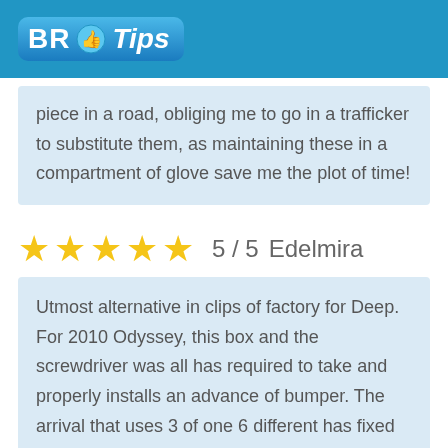[Figure (logo): BR Tips logo with thumbs up icon on blue header bar]
piece in a road, obliging me to go in a trafficker to substitute them, as maintaining these in a compartment of glove save me the plot of time!
5 / 5   Edelmira
Utmost alternative in clips of factory for Deep. For 2010 Odyssey, this box and the screwdriver was all has required to take and properly installs an advance of bumper. The arrival that uses 3 of one 6 different has fixed clips for a bumper. For some points of annex of the lowest bumper and games